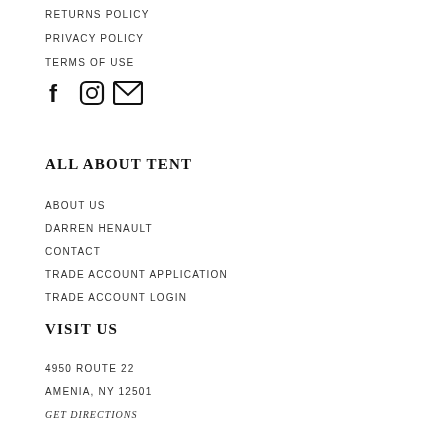RETURNS POLICY
PRIVACY POLICY
TERMS OF USE
[Figure (infographic): Social media icons: Facebook (F), Instagram (camera/circle), and Email (envelope)]
ALL ABOUT TENT
ABOUT US
DARREN HENAULT
CONTACT
TRADE ACCOUNT APPLICATION
TRADE ACCOUNT LOGIN
VISIT US
4950 ROUTE 22
AMENIA, NY 12501
GET DIRECTIONS